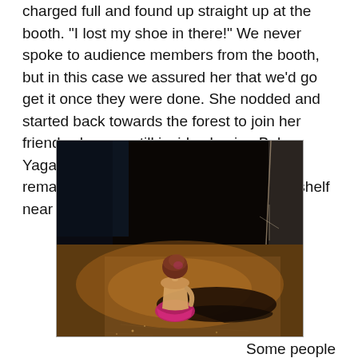charged full and found up straight up at the booth. "I lost my shoe in there!" We never spoke to audience members from the booth, but in this case we assured her that we'd go get it once they were done. She nodded and started back towards the forest to join her friend, who was still inside chasing Baba Yaga. She then stopped, took off her remaining shoe, and threw it on an open shelf near the exit.
[Figure (photo): A person with reddish-pink hair kneeling or sitting on a dark stage floor, viewed from behind. The lighting is warm and dramatic, mostly dark background with a column of light visible in the upper right. The person appears to be wearing a pink/magenta costume.]
Some people